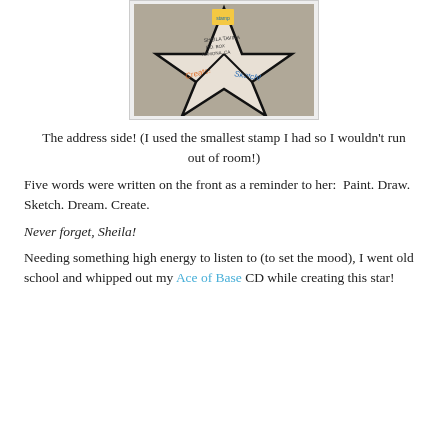[Figure (photo): A decorative star-shaped paper/craft item on a concrete surface with handwritten words including 'Create!' and 'Sketch!' and an address written on it, with a postage stamp at the top.]
The address side! (I used the smallest stamp I had so I wouldn't run out of room!)
Five words were written on the front as a reminder to her:  Paint. Draw. Sketch. Dream. Create.
Never forget, Sheila!
Needing something high energy to listen to (to set the mood), I went old school and whipped out my Ace of Base CD while creating this star!